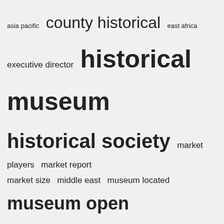[Figure (other): Tag cloud with terms of varying sizes: asia pacific, county historical, east africa, executive director, historical museum, historical society, market players, market report, market size, middle east, museum located, museum open, north america, united states, world war]
Recent Posts
Same-day Loan: Should I Consider Getting It? | Payday Champion
Chelsea Area Historical Museum events to highlight local history
► The Deschutes Historical Museum will host its first antique fair in over 20 years
Author conference and book signing | Clarke Historical Museum |